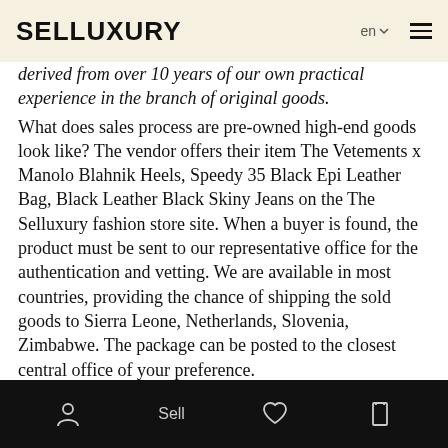SELLUXURY
derived from over 10 years of our own practical experience in the branch of original goods. What does sales process are pre-owned high-end goods look like? The vendor offers their item The Vetements x Manolo Blahnik Heels, Speedy 35 Black Epi Leather Bag, Black Leather Black Skiny Jeans on the The Selluxury fashion store site. When a buyer is found, the product must be sent to our representative office for the authentication and vetting. We are available in most countries, providing the chance of shipping the sold goods to Sierra Leone, Netherlands, Slovenia, Zimbabwe. The package can be posted to the closest central office of your preference. If the check-up is confirmed, we pay the fee promptly to the merchant, and the unit are mailed to the purchaser.
Sell